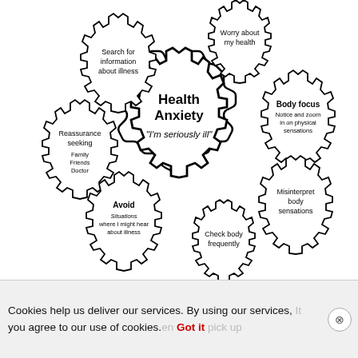[Figure (infographic): Health Anxiety diagram showing interconnected gear/cog shapes. Central large gear labeled 'Health Anxiety / "I'm seriously ill"' surrounded by 6 smaller gears: 'Worry about my health' (top center), 'Search for information about illness' (top left), 'Body focus - Notice and zoom in on physical sensations' (right top), 'Reassurance seeking - Family Friends Doctor' (left middle), 'Misinterpret body sensations' (right bottom), 'Avoid - Situations where I might hear about illness' (bottom left), 'Check body frequently' (bottom center)]
Cookies help us deliver our services. By using our services, you agree to our use of cookies. Got it